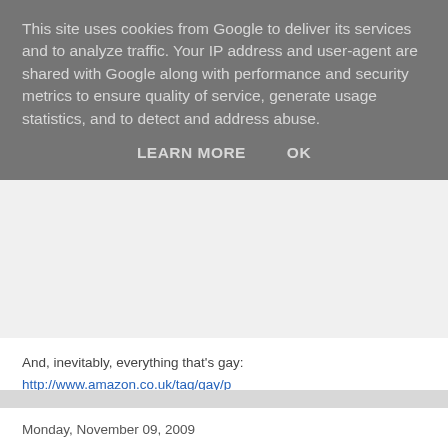This site uses cookies from Google to deliver its services and to analyze traffic. Your IP address and user-agent are shared with Google along with performance and security metrics to ensure quality of service, generate usage statistics, and to detect and address abuse.
LEARN MORE    OK
And, inevitably, everything that's gay: http://www.amazon.co.uk/tag/gay/p
Posted by overyourhead at Tuesday, November 10, 2009   No commen
Monday, November 09, 2009
Flinstones Cigarette Commercial...
Advertising is the rattling of a stick inside a swill bucket - George Orwell